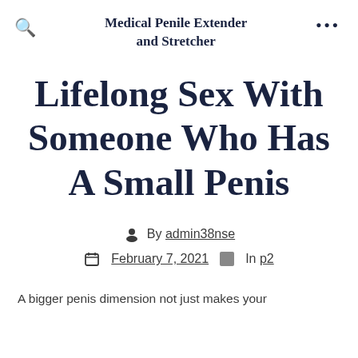Medical Penile Extender and Stretcher
Lifelong Sex With Someone Who Has A Small Penis
By admin38nse
February 7, 2021  In p2
A bigger penis dimension not just makes your